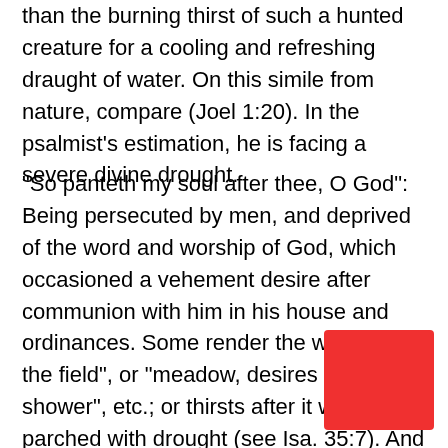than the burning thirst of such a hunted creature for a cooling and refreshing draught of water. On this simile from nature, compare (Joel 1:20). In the psalmist's estimation, he is facing a severe divine drought.
“So panteth my soul after thee, O God”: Being persecuted by men, and deprived of the word and worship of God, which occasioned a vehement desire after communion with him in his house and ordinances. Some render the words, “as the field”, or “meadow, desires the shower”, etc.; or thirsts after it when parched with drought (see Isa. 35:7). And by these metaphors, one or the other, is expressed the psalmist’s violent and eager thirst after the enjoyment of God in public worship.
[Figure (other): A solid red/coral rectangle overlapping the bottom-right corner of the text.]